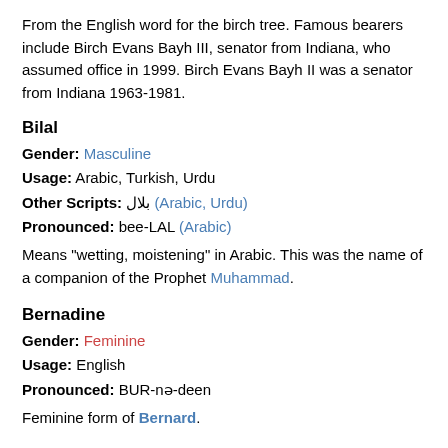From the English word for the birch tree. Famous bearers include Birch Evans Bayh III, senator from Indiana, who assumed office in 1999. Birch Evans Bayh II was a senator from Indiana 1963-1981.
Bilal
Gender: Masculine
Usage: Arabic, Turkish, Urdu
Other Scripts: بلال (Arabic, Urdu)
Pronounced: bee-LAL (Arabic)
Means "wetting, moistening" in Arabic. This was the name of a companion of the Prophet Muhammad.
Bernadine
Gender: Feminine
Usage: English
Pronounced: BUR-nə-deen
Feminine form of Bernard.